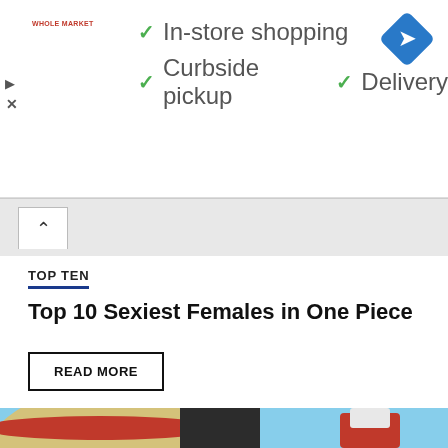[Figure (screenshot): Advertisement banner showing Whole Market logo with checkmarks for In-store shopping, Curbside pickup, and Delivery, plus a blue navigation diamond icon]
[Figure (screenshot): Navigation/browser chrome collapsed area with up caret button]
TOP TEN
Top 10 Sexiest Females in One Piece
READ MORE
[Figure (photo): Anime image showing One Piece characters including a close-up of Luffy's straw hat and a character in red on the right with blue sky background]